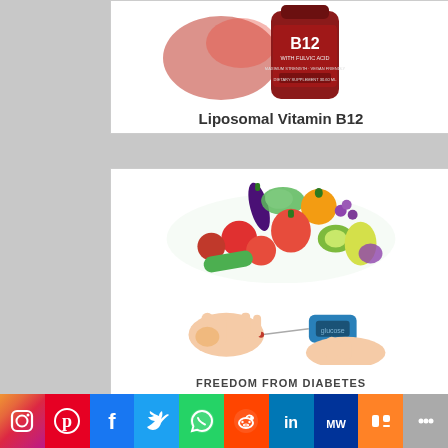[Figure (photo): Liposomal Vitamin B12 supplement bottle with red liquid splash]
Liposomal Vitamin B12
[Figure (photo): Pile of colorful fruits and vegetables above a blood glucose meter testing hands]
FREEDOM FROM DIABETES
[Figure (infographic): Social media share bar: Instagram, Pinterest, Facebook, Twitter, WhatsApp, Reddit, LinkedIn, MeWe, Mix, More]